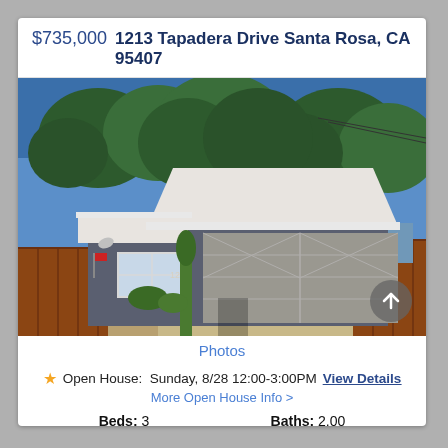$735,000  1213 Tapadera Drive Santa Rosa, CA 95407
[Figure (photo): Exterior photo of a single-story grey house with a large two-car garage door, landscaping with trees and shrubs, gravel driveway, and wooden fences on sides. Blue sky with trees in background.]
Photos
★ Open House:  Sunday, 8/28 12:00-3:00PM   View Details
More Open House Info >
Beds: 3    Baths: 2.00